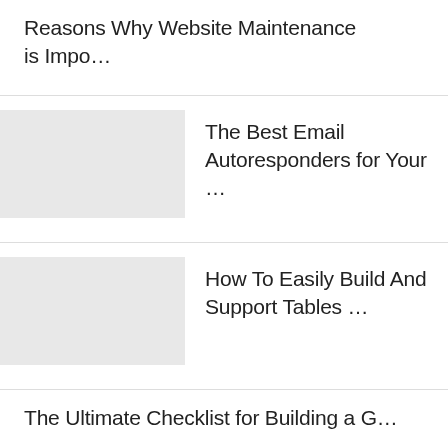Reasons Why Website Maintenance is Impo…
The Best Email Autoresponders for Your …
How To Easily Build And Support Tables …
The Ultimate Checklist for Building a G…